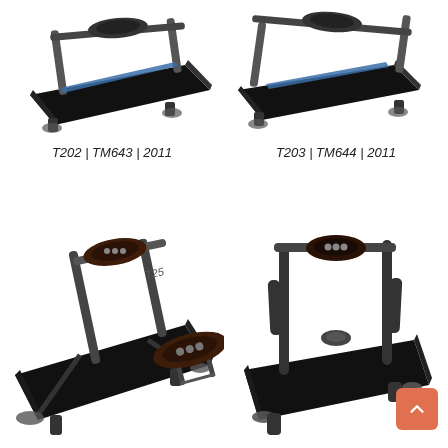[Figure (photo): Treadmill product photo - T202 / TM643 / 2011, angled view from front-left, dark frame with blue accents]
[Figure (photo): Treadmill product photo - T203 / TM644 / 2011, angled view from front-right, dark frame with blue accents]
T202 | TM643 | 2011
T203 | TM644 | 2011
[Figure (photo): Treadmill product photo with T25 label and console detail inset, dark frame, angled view]
[Figure (photo): Treadmill product photo, dark frame, front-facing angled view, no model label visible]